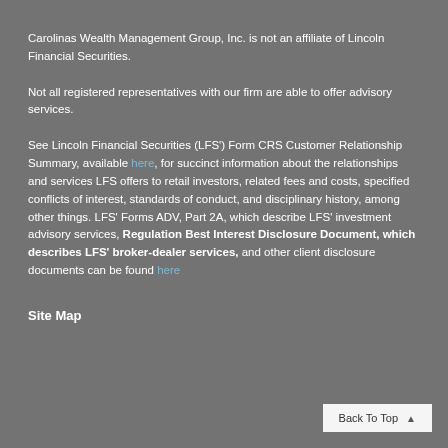Carolinas Wealth Management Group, Inc. is not an affiliate of Lincoln Financial Securities.
Not all registered representatives with our firm are able to offer advisory services.
See Lincoln Financial Securities (LFS') Form CRS Customer Relationship Summary, available here, for succinct information about the relationships and services LFS offers to retail investors, related fees and costs, specified conflicts of interest, standards of conduct, and disciplinary history, among other things. LFS' Forms ADV, Part 2A, which describe LFS' investment advisory services, Regulation Best Interest Disclosure Document, which describes LFS' broker-dealer services, and other client disclosure documents can be found here
Site Map